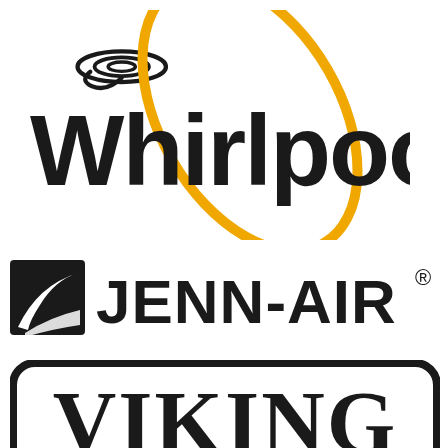[Figure (logo): Whirlpool brand logo with black spiral graphic and black wordmark 'Whirlpool', overlaid with a golden/amber elliptical ring swooping through the letters]
[Figure (logo): Jenn-Air brand logo: black square with white wave/swoosh icon on left, followed by bold black uppercase text 'JENN-AIR' with registered trademark symbol]
[Figure (logo): Viking brand logo: bold black serif uppercase text 'VIKING' inside a rounded rectangle border, partially cut off at bottom]